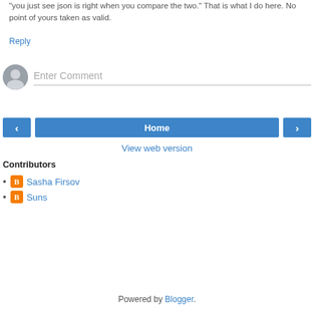"you just see json is right when you compare the two." That is what I do here. No point of yours taken as valid.
Reply
[Figure (other): User avatar circle placeholder icon for comment input]
Enter Comment
‹  Home  ›
View web version
Contributors
Sasha Firsov
Suns
Powered by Blogger.